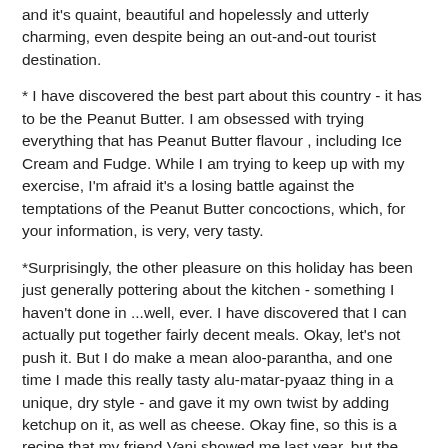and it's quaint, beautiful and hopelessly and utterly charming, even despite being an out-and-out tourist destination.
* I have discovered the best part about this country - it has to be the Peanut Butter. I am obsessed with trying everything that has Peanut Butter flavour , including Ice Cream and Fudge. While I am trying to keep up with my exercise, I'm afraid it's a losing battle against the temptations of the Peanut Butter concoctions, which, for your information, is very, very tasty.
*Surprisingly, the other pleasure on this holiday has been just generally pottering about the kitchen - something I haven't done in ...well, ever. I have discovered that I can actually put together fairly decent meals. Okay, let's not push it. But I do make a mean aloo-parantha, and one time I made this really tasty alu-matar-pyaaz thing in a unique, dry style - and gave it my own twist by adding ketchup on it, as well as cheese. Okay fine, so this is a recipe that my friend Vani showed me last year, but the cheese sprinkles on top were MY idea. I personally thought it was quite brilliant.